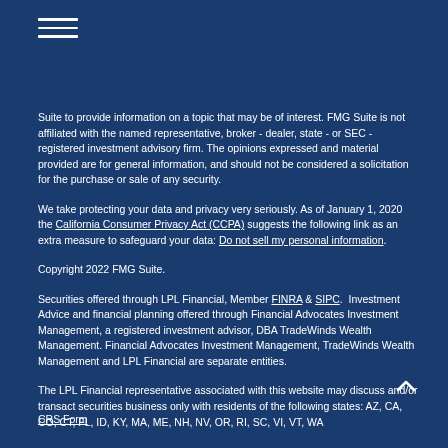[Figure (other): Hamburger menu icon with three horizontal white lines]
Suite to provide information on a topic that may be of interest. FMG Suite is not affiliated with the named representative, broker - dealer, state - or SEC - registered investment advisory firm. The opinions expressed and material provided are for general information, and should not be considered a solicitation for the purchase or sale of any security.
We take protecting your data and privacy very seriously. As of January 1, 2020 the California Consumer Privacy Act (CCPA) suggests the following link as an extra measure to safeguard your data: Do not sell my personal information.
Copyright 2022 FMG Suite.
Securities offered through LPL Financial, Member FINRA & SIPC. Investment Advice and financial planning offered through Financial Advocates Investment Management, a registered investment advisor, DBA TradeWinds Wealth Management. Financial Advocates Investment Management, TradeWinds Wealth Management and LPL Financial are separate entities.
The LPL Financial representative associated with this website may discuss and/or transact securities business only with residents of the following states: AZ, CA, CO, CT, FL, ID, KY, MA, ME, NH, NV, OR, RI, SC, VI, VT, WA
CRS Form